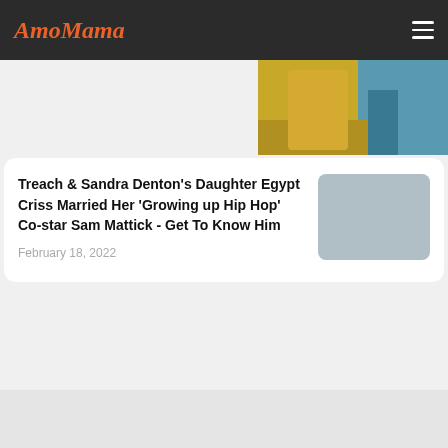AmoMama
[Figure (photo): Partial photo visible in top-right corner showing person in yellow/gold jacket and colorful background]
Treach & Sandra Denton's Daughter Egypt Criss Married Her 'Growing up Hip Hop' Co-star Sam Mattick - Get To Know Him
February 18, 2022
[Figure (photo): Gray placeholder thumbnail image for article]